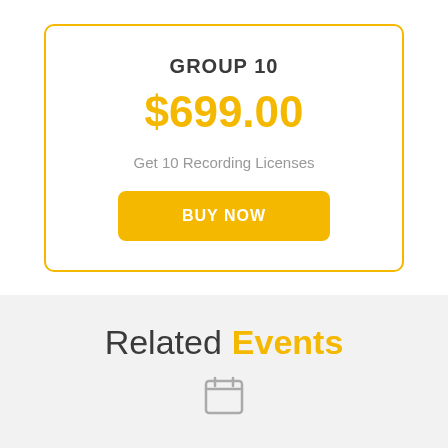GROUP 10
$699.00
Get 10 Recording Licenses
BUY NOW
Related Events